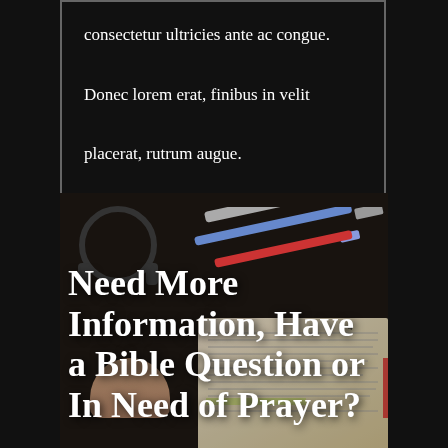consectetur ultricies ante ac congue. Donec lorem erat, finibus in velit placerat, rutrum augue.
[Figure (photo): A dark background photo showing an open Bible, pens/markers, and headphones, overlaid with large white serif text about needing more information, Bible questions, or prayer.]
Need More Information, Have a Bible Question or In Need of Prayer?